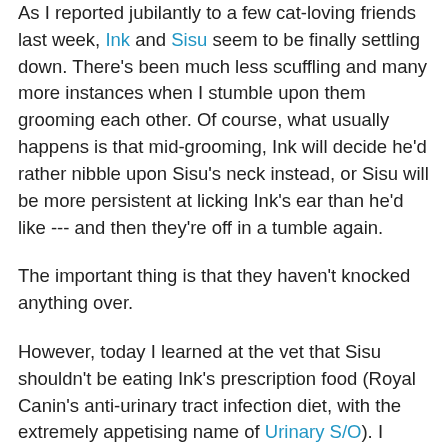As I reported jubilantly to a few cat-loving friends last week, Ink and Sisu seem to be finally settling down. There's been much less scuffling and many more instances when I stumble upon them grooming each other. Of course, what usually happens is that mid-grooming, Ink will decide he'd rather nibble upon Sisu's neck instead, or Sisu will be more persistent at licking Ink's ear than he'd like --- and then they're off in a tumble again.
The important thing is that they haven't knocked anything over.
However, today I learned at the vet that Sisu shouldn't be eating Ink's prescription food (Royal Canin's anti-urinary tract infection diet, with the extremely appetising name of Urinary S/O). I thought it was harmless and she really loves it anyway, but no, the vet says it could affect her urine pH balance. My brain does not intuitively comprehend why that's bad but, er, it is.
At the same time, Ink absolutely cannot have regular cat